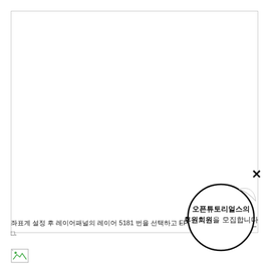좌표계 설정 후 레이어패널의 레이어 5181 번을 선택하고 EPSG:5181을 Korea 200□.
[Figure (other): Small broken image placeholder icon in the bottom-left area]
[Figure (other): Circular popup overlay with text '오픈튜토리얼스의 후원회원을 모집합니다' and a close (×) button]